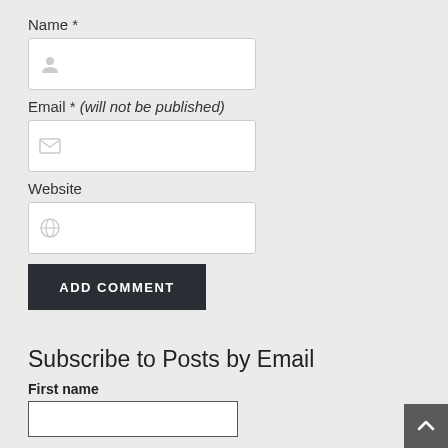Name *
[Figure (screenshot): Name input field with person icon]
Email * (will not be published)
[Figure (screenshot): Email input field with envelope icon]
Website
[Figure (screenshot): Website input field with globe icon]
[Figure (screenshot): ADD COMMENT button]
Subscribe to Posts by Email
First name
[Figure (screenshot): First name input field]
Last name
[Figure (screenshot): Last name input field (partially visible)]